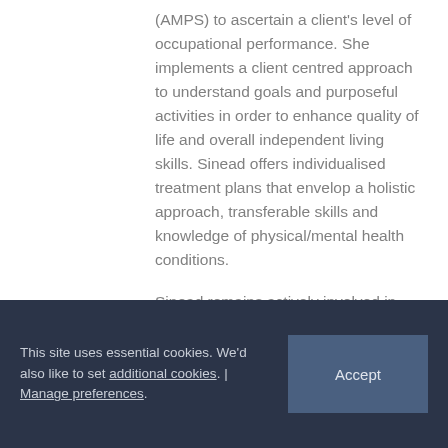(AMPS) to ascertain a client's level of occupational performance. She implements a client centred approach to understand goals and purposeful activities in order to enhance quality of life and overall independent living skills. Sinead offers individualised treatment plans that envelop a holistic approach, transferable skills and knowledge of physical/mental health conditions.

Sinead remains actively involved in CPD and reflective practice opportunities to ensure she works within up-to-date guidelines. She
This site uses essential cookies. We'd also like to set additional cookies. | Manage preferences